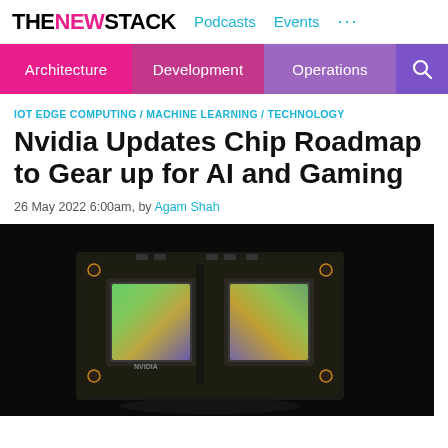THE NEW STACK | Podcasts | Events | ...
Architecture | Development | Operations
IOT EDGE COMPUTING / MACHINE LEARNING / TECHNOLOGY
Nvidia Updates Chip Roadmap to Gear up for AI and Gaming
26 May 2022 6:00am, by Agam Shah
[Figure (photo): Close-up photo of an Nvidia chip module showing two large GPU dies on a dark circuit board, photographed against a black background.]